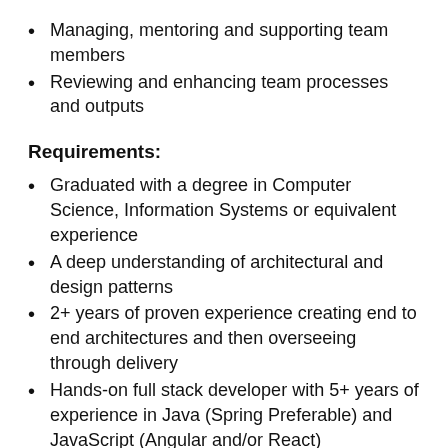Managing, mentoring and supporting team members
Reviewing and enhancing team processes and outputs
Requirements:
Graduated with a degree in Computer Science, Information Systems or equivalent experience
A deep understanding of architectural and design patterns
2+ years of proven experience creating end to end architectures and then overseeing through delivery
Hands-on full stack developer with 5+ years of experience in Java (Spring Preferable) and JavaScript (Angular and/or React)
Minimum of 10 years of overall development experience